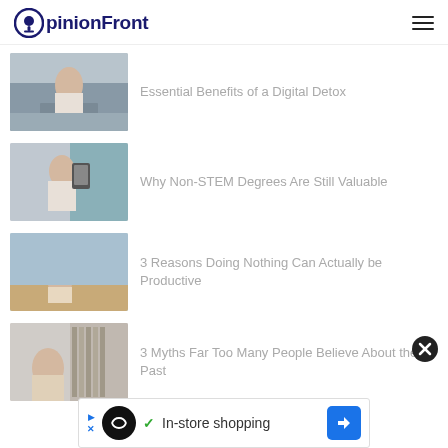OpinionFront
Essential Benefits of a Digital Detox
[Figure (photo): Young woman looking upward outdoors on a balcony]
Why Non-STEM Degrees Are Still Valuable
[Figure (photo): Woman with glasses taking a selfie holding a phone]
3 Reasons Doing Nothing Can Actually be Productive
[Figure (photo): Person sitting on a sandy beach by the ocean]
3 Myths Far Too Many People Believe About the Past
[Figure (photo): Person looking at bookshelves in a library]
[Figure (screenshot): Advertisement banner: In-store shopping with navigation arrow icon]